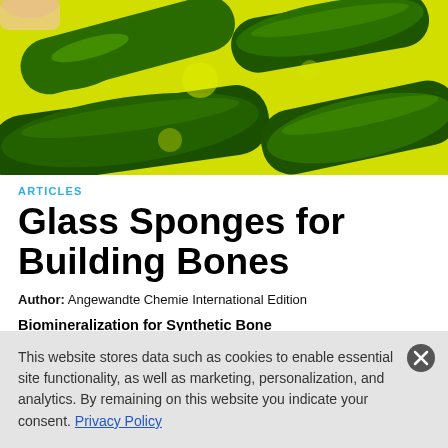[Figure (photo): Close-up microscopic or macro photograph of green and yellow glass sponge spicules — cylindrical green glass-like structures on a bright yellow background]
ARTICLES
Glass Sponges for Building Bones
Author: Angewandte Chemie International Edition
Biomineralization for Synthetic Bone
As well as organic structures, mineral structures also play an
This website stores data such as cookies to enable essential site functionality, as well as marketing, personalization, and analytics. By remaining on this website you indicate your consent. Privacy Policy